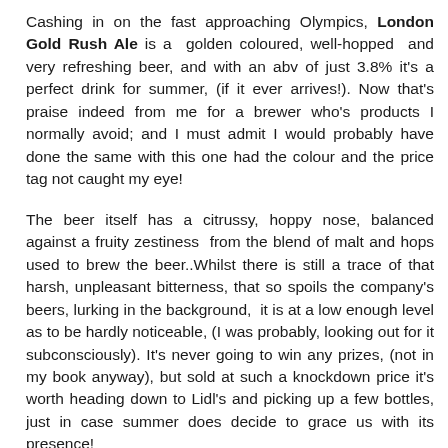selling at a bargain price of just £1.19 for a 500ml bottle at our local Lidl's.
Cashing in on the fast approaching Olympics, London Gold Rush Ale is a  golden coloured, well-hopped  and very refreshing beer, and with an abv of just 3.8% it's a perfect drink for summer, (if it ever arrives!). Now that's praise indeed from me for a brewer who's products I normally avoid; and I must admit I would probably have done the same with this one had the colour and the price tag not caught my eye!
The beer itself has a citrussy, hoppy nose, balanced against a fruity zestiness  from the blend of malt and hops used to brew the beer..Whilst there is still a trace of that harsh, unpleasant bitterness, that so spoils the company's beers, lurking in the background,  it is at a low enough level as to be hardly noticeable, (I was probably, looking out for it subconsciously). It's never going to win any prizes, (not in my book anyway), but sold at such a knockdown price it's worth heading down to Lidl's and picking up a few bottles, just in case summer does decide to grace us with its presence!